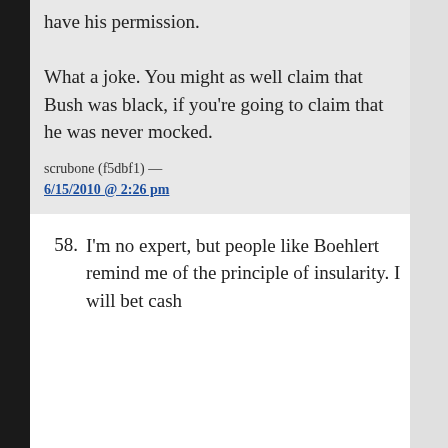have his permission.

What a joke. You might as well claim that Bush was black, if you're going to claim that he was never mocked.
scrubone (f5dbf1) — 6/15/2010 @ 2:26 pm
58. I'm no expert, but people like Boehlert remind me of the principle of insularity. I will bet cash